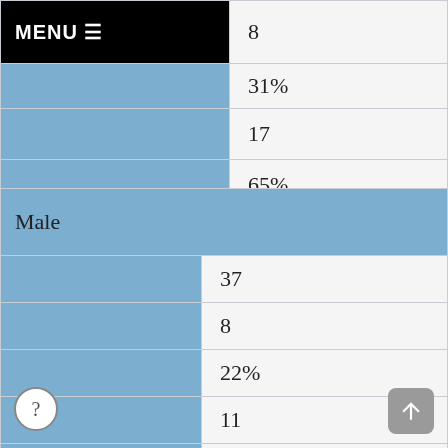|  | 8 |
|  | 31% |
|  | 17 |
|  | 65% |
| Male |  |
| --- | --- |
|  | 37 |
|  | 8 |
|  | 22% |
|  | 11 |
|  | 30% |
|  | 12 |
|  | 32% |